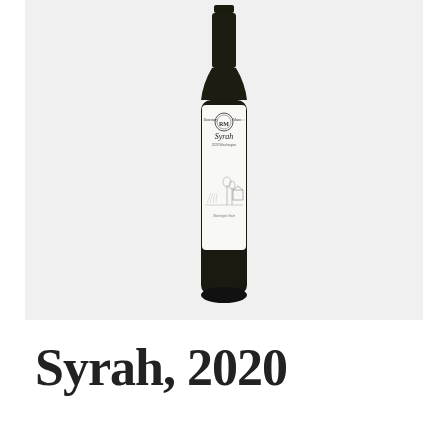[Figure (photo): A wine bottle with a white label showing 'Rosemary Mann' winery name with RM logo medallion, 'Syrah' varietal name, '2020 Washington' appellation, and a vineyard/barn landscape illustration. The bottle is dark glass, photographed on a light gray background.]
Syrah, 2020